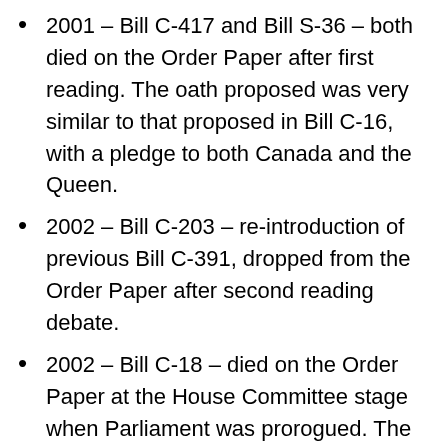2001 – Bill C-417 and Bill S-36 – both died on the Order Paper after first reading. The oath proposed was very similar to that proposed in Bill C-16, with a pledge to both Canada and the Queen.
2002 – Bill C-203 – re-introduction of previous Bill C-391, dropped from the Order Paper after second reading debate.
2002 – Bill C-18 – died on the Order Paper at the House Committee stage when Parliament was prorogued. The oath contained the same text as proposed in Bills C-16 and C-63